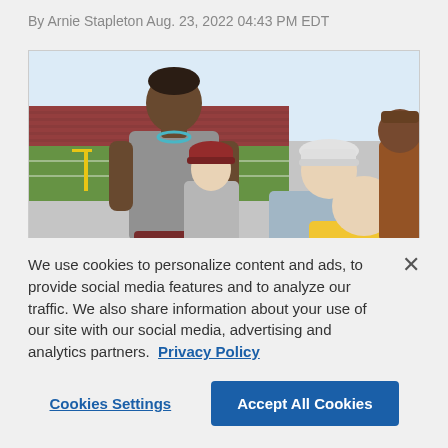By Arnie Stapleton Aug. 23, 2022 04:43 PM EDT
[Figure (photo): A football player in a grey shirt with an NFL stadium in the background interacts with young fans, one wearing a yellow shirt and one wearing a red cap.]
We use cookies to personalize content and ads, to provide social media features and to analyze our traffic. We also share information about your use of our site with our social media, advertising and analytics partners.  Privacy Policy
Cookies Settings
Accept All Cookies